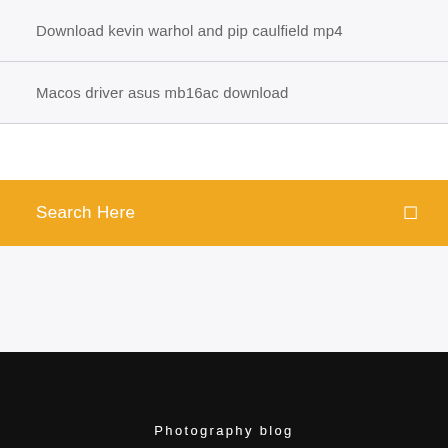Download kevin warhol and pip caulfield mp4
Macos driver asus mb16ac download
Search Here
Photography blog